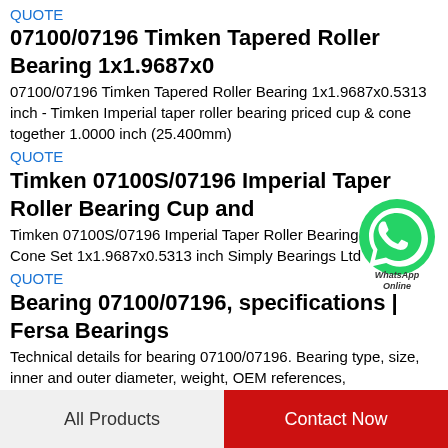QUOTE
07100/07196 Timken Tapered Roller Bearing 1x1.9687x0
07100/07196 Timken Tapered Roller Bearing 1x1.9687x0.5313 inch - Timken Imperial taper roller bearing priced cup & cone together 1.0000 inch (25.400mm)
QUOTE
Timken 07100S/07196 Imperial Taper Roller Bearing Cup and
Timken 07100S/07196 Imperial Taper Roller Bearing Cup and Cone Set 1x1.9687x0.5313 inch Simply Bearings Ltd
QUOTE
Bearing 07100/07196, specifications | Fersa Bearings
Technical details for bearing 07100/07196. Bearing type, size, inner and outer diameter, weight, OEM references,
[Figure (logo): WhatsApp Online button - green circular WhatsApp icon with 'WhatsApp Online' text below]
All Products   Contact Now